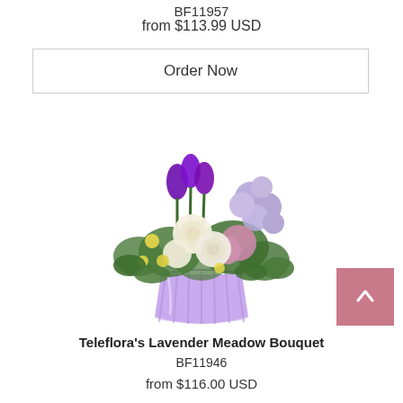BF11957
from $113.99 USD
Order Now
[Figure (photo): Teleflora's Lavender Meadow Bouquet: a floral arrangement with purple tulips, white roses, lavender/lilac blooms, pink chrysanthemums, yellow filler flowers, and greenery in a purple striped vase.]
Teleflora's Lavender Meadow Bouquet
BF11946
from $116.00 USD